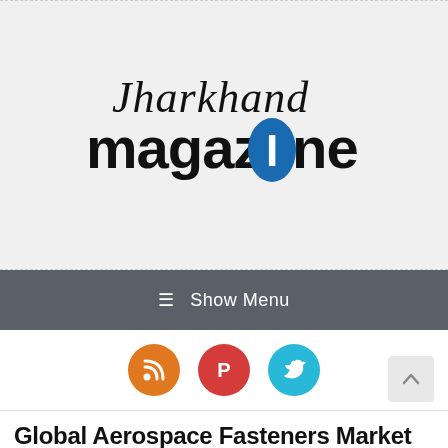[Figure (logo): Jharkhand Magazine logo with stylized italic script 'Jharkhand' text above bold 'magazine' text; the letter 'i' in magazine replaced by a blue oval/ellipse shape with a white rectangular letter i inside]
☰ Show Menu
[Figure (infographic): Three circular social media icon buttons in a row: orange RSS icon, red Pinterest icon, and cyan/blue Twitter bird icon]
Global Aerospace Fasteners Market Size